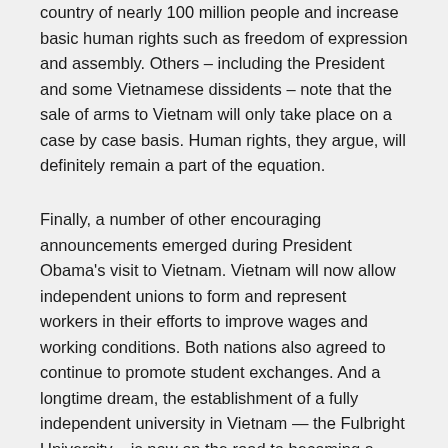country of nearly 100 million people and increase basic human rights such as freedom of expression and assembly. Others – including the President and some Vietnamese dissidents – note that the sale of arms to Vietnam will only take place on a case by case basis. Human rights, they argue, will definitely remain a part of the equation.
Finally, a number of other encouraging announcements emerged during President Obama's visit to Vietnam. Vietnam will now allow independent unions to form and represent workers in their efforts to improve wages and working conditions. Both nations also agreed to continue to promote student exchanges. And a longtime dream, the establishment of a fully independent university in Vietnam — the Fulbright University – is now on the road to becoming a reality.